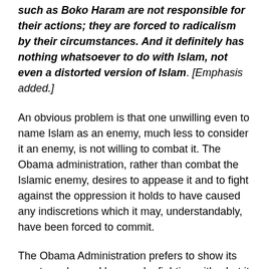such as Boko Haram are not responsible for their actions; they are forced to radicalism by their circumstances. And it definitely has nothing whatsoever to do with Islam, not even a distorted version of Islam. [Emphasis added.]
An obvious problem is that one unwilling even to name Islam as an enemy, much less to consider it an enemy, is not willing to combat it. The Obama administration, rather than combat the Islamic enemy, desires to appease it and to fight against the oppression it holds to have caused any indiscretions which it may, understandably, have been forced to commit.
The Obama Administration prefers to show its great resolve and bravery by fighting with what it claims to be the most dangerous demon of all, climate change.